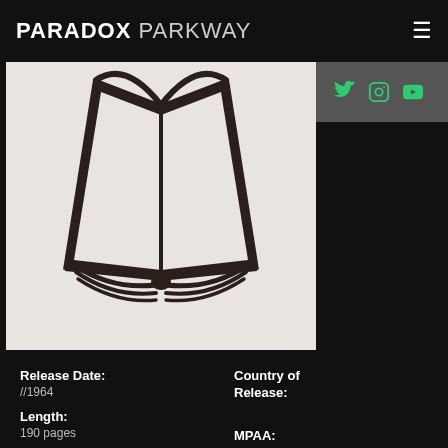PARADOX PARKWAY
[Figure (illustration): Open book icon with dark brown outline on light beige/cream background]
Release Date:
//1964
Country of Release:
Length:
190 pages
MPAA: